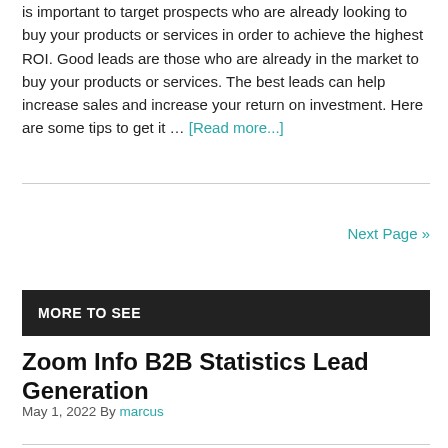is important to target prospects who are already looking to buy your products or services in order to achieve the highest ROI. Good leads are those who are already in the market to buy your products or services. The best leads can help increase sales and increase your return on investment. Here are some tips to get it … [Read more...]
Next Page »
MORE TO SEE
Zoom Info B2B Statistics Lead Generation
May 1, 2022 By marcus